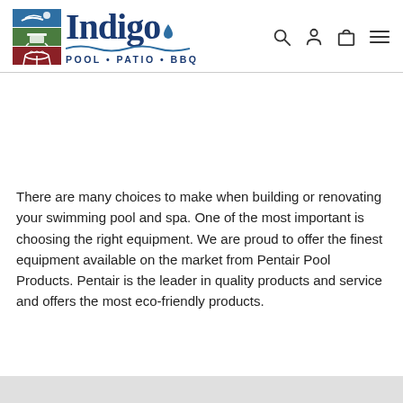[Figure (logo): Indigo Pool Patio BBQ logo with colored grid icon and wave underline]
There are many choices to make when building or renovating your swimming pool and spa. One of the most important is choosing the right equipment. We are proud to offer the finest equipment available on the market from Pentair Pool Products. Pentair is the leader in quality products and service and offers the most eco-friendly products.